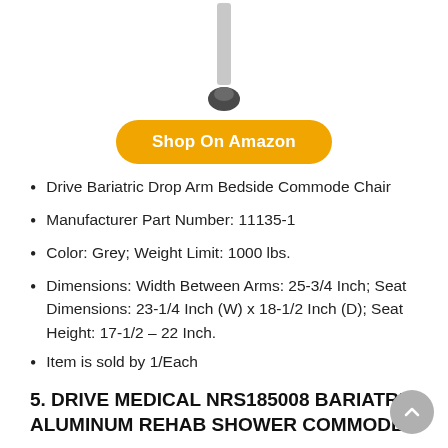[Figure (photo): Partial product image showing the leg/foot of a bariatric commode chair with rubber tip, on white background]
Shop On Amazon
Drive Bariatric Drop Arm Bedside Commode Chair
Manufacturer Part Number: 11135-1
Color: Grey; Weight Limit: 1000 lbs.
Dimensions: Width Between Arms: 25-3/4 Inch; Seat Dimensions: 23-1/4 Inch (W) x 18-1/2 Inch (D); Seat Height: 17-1/2 – 22 Inch.
Item is sold by 1/Each
5. DRIVE MEDICAL NRS185008 BARIATRIC ALUMINUM REHAB SHOWER COMMODE